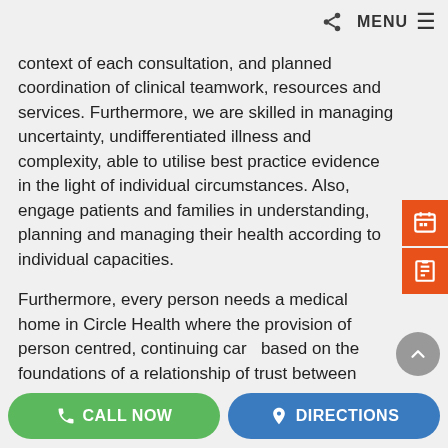MENU
context of each consultation, and planned coordination of clinical teamwork, resources and services. Furthermore, we are skilled in managing uncertainty, undifferentiated illness and complexity, able to utilise best practice evidence in the light of individual circumstances. Also, engage patients and families in understanding, planning and managing their health according to individual capacities.
Furthermore, every person needs a medical home in Circle Health where the provision of person centred, continuing care based on the foundations of a relationship of trust between patients and their chosen general practitioner. So, while its consistent delivery rests with the practice or primary health care service as a whole. So, if in need of General Practice service, visit us.
THE LARGEST MEDICAL CENTRE IN THE
CALL NOW
DIRECTIONS